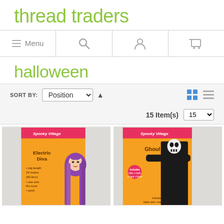[Figure (logo): Thread Traders logo in lime green text]
Menu | Search | Account | Cart navigation bar
halloween
SORT BY: Position ↑  15 Item(s)  15
[Figure (photo): Electric Diva purple wig Halloween costume product in orange packaging]
[Figure (photo): Ghoul Halloween costume in black with mask in orange packaging]